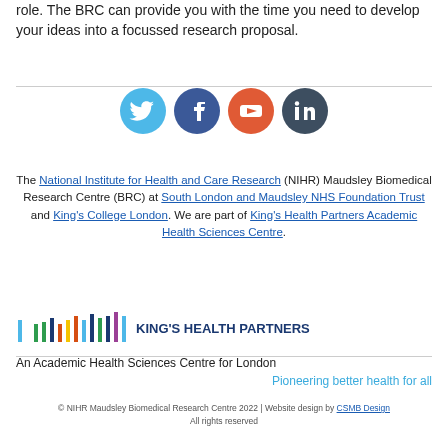role. The BRC can provide you with the time you need to develop your ideas into a focussed research proposal.
[Figure (infographic): Social media icons: Twitter (light blue), Facebook (dark blue), YouTube (red/orange), LinkedIn (dark gray)]
The National Institute for Health and Care Research (NIHR) Maudsley Biomedical Research Centre (BRC) at South London and Maudsley NHS Foundation Trust and King's College London. We are part of King's Health Partners Academic Health Sciences Centre.
[Figure (logo): King's Health Partners logo with colorful vertical bar chart style icon and text 'KING'S HEALTH PARTNERS']
An Academic Health Sciences Centre for London
Pioneering better health for all
© NIHR Maudsley Biomedical Research Centre 2022 | Website design by CSMB Design All rights reserved